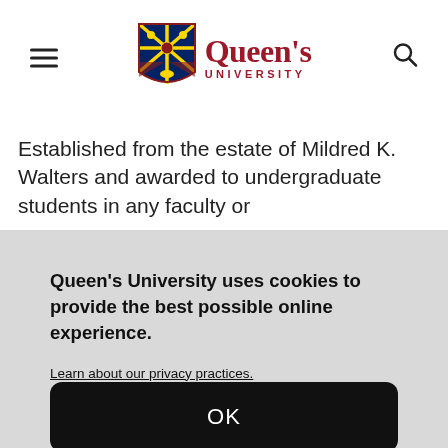[Figure (logo): Queen's University logo with shield crest and wordmark in crimson/red]
Established from the estate of Mildred K. Walters and awarded to undergraduate students in any faculty or
Queen's University uses cookies to provide the best possible online experience.
Learn about our privacy practices.
OK